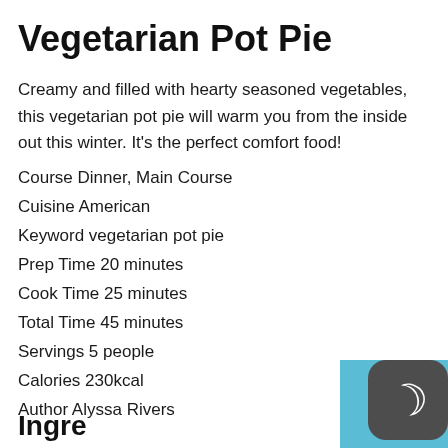Vegetarian Pot Pie
Creamy and filled with hearty seasoned vegetables, this vegetarian pot pie will warm you from the inside out this winter. It's the perfect comfort food!
Course Dinner, Main Course
Cuisine American
Keyword vegetarian pot pie
Prep Time 20 minutes
Cook Time 25 minutes
Total Time 45 minutes
Servings 5 people
Calories 230kcal
Author Alyssa Rivers
Ingredients